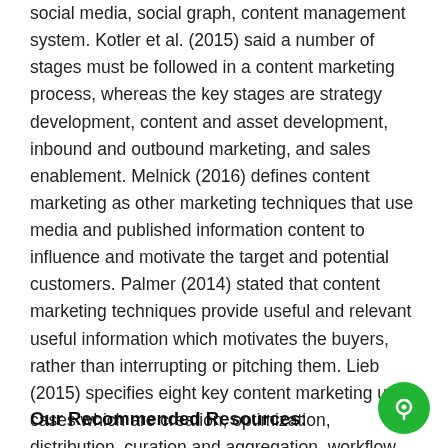social media, social graph, content management system. Kotler et al. (2015) said a number of stages must be followed in a content marketing process, whereas the key stages are strategy development, content and asset development, inbound and outbound marketing, and sales enablement. Melnick (2016) defines content marketing as other marketing techniques that use media and published information content to influence and motivate the target and potential customers. Palmer (2014) stated that content marketing techniques provide useful and relevant useful information which motivates the buyers, rather than interrupting or pitching them. Lieb (2015) specifies eight key content marketing use cases which are creation, optimization, distribution, curation and aggregation, workflow, legal and compliance, audience and targeting.
Our Recommended Resources: